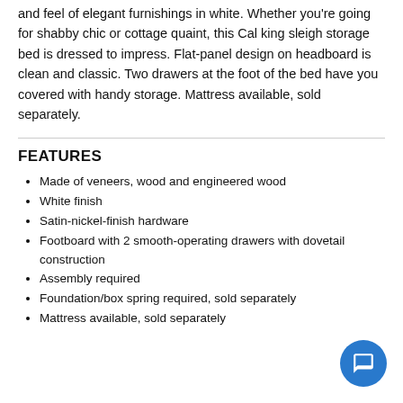and feel of elegant furnishings in white. Whether you're going for shabby chic or cottage quaint, this Cal king sleigh storage bed is dressed to impress. Flat-panel design on headboard is clean and classic. Two drawers at the foot of the bed have you covered with handy storage. Mattress available, sold separately.
FEATURES
Made of veneers, wood and engineered wood
White finish
Satin-nickel-finish hardware
Footboard with 2 smooth-operating drawers with dovetail construction
Assembly required
Foundation/box spring required, sold separately
Mattress available, sold separately